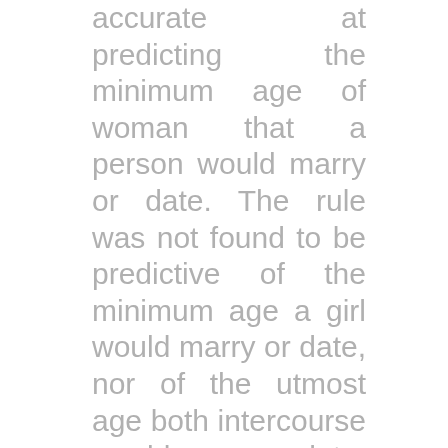accurate at predicting the minimum age of woman that a person would marry or date. The rule was not found to be predictive of the minimum age a girl would marry or date, nor of the utmost age both intercourse would marry or date. As access to education increases worldwide, the age of marriage will increase with it, with extra of the youth staying in schooling for longer. Venus de Milo on the Louvre has been described as a “classical vision of beauty”. However, one skilled claimed her “virtually matronly representation” was